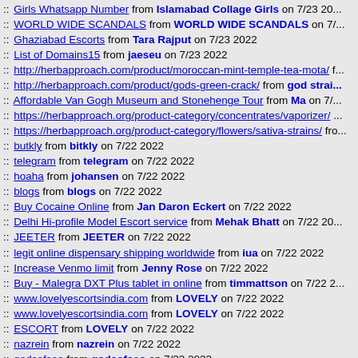Girls Whatsapp Number from Islamabad Collage Girls on 7/23 20...
WORLD WIDE SCANDALS from WORLD WIDE SCANDALS on 7/...
Ghaziabad Escorts from Tara Rajput on 7/23 2022
List of Domains15 from jaeseu on 7/23 2022
http://herbapproach.com/product/moroccan-mint-temple-tea-mota/ f...
http://herbapproach.com/product/gods-green-crack/ from god strai...
Affordable Van Gogh Museum and Stonehenge Tour from Ma on 7/...
https://herbapproach.org/product-category/concentrates/vaporizer/ ...
https://herbapproach.org/product-category/flowers/sativa-strains/ fro...
butkly from bitkly on 7/22 2022
telegram from telegram on 7/22 2022
hoaha from johansen on 7/22 2022
blogs from blogs on 7/22 2022
Buy Cocaine Online from Jan Daron Eckert on 7/22 2022
Delhi Hi-profile Model Escort service from Mehak Bhatt on 7/22 20...
JEETER from JEETER on 7/22 2022
legit online dispensary shipping worldwide from iua on 7/22 2022
Increase Venmo limit from Jenny Rose on 7/22 2022
Buy - Malegra DXT Plus tablet in online from timmattson on 7/22 2...
www.lovelyescortsindia.com from LOVELY on 7/22 2022
www.lovelyescortsindia.com from LOVELY on 7/22 2022
ESCORT from LOVELY on 7/22 2022
nazrein from nazrein on 7/22 2022
godsofseo from godsofseo on 7/22 2022
officialninja188 from ninja9 on 7/22 2022
http://social.divasofada.in from Kolkata Escort on 7/22 2022
Delhi Escorts from Sara Kaur on 7/22 2022
Make Your Erection More Potent By Using Tadalista 20 Tablet from...
Tadarise Pro 20: A Best Pill To Overcome ED Problem In Men from...
Kamagra 100mg Oral Jelly :- Most Effective On Your Impotence fro...